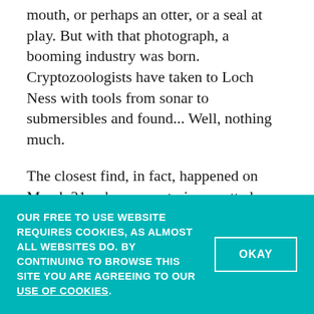mouth, or perhaps an otter, or a seal at play. But with that photograph, a booming industry was born. Cryptozoologists have taken to Loch Ness with tools from sonar to submersibles and found... Well, nothing much.
The closest find, in fact, happened on March 31, when a mysterious, rotted body of a green, scaly creature was found washed up on the shore. It was, in fact, a dead bull seal, planted there by a zoologist as an April Fool's joke on his colleagues.
OUR FREE TO USE WEBSITE REQUIRES COOKIES, AS ALMOST ALL WEBSITES DO. BY CONTINUING TO BROWSE THIS SITE YOU ARE AGREEING TO OUR USE OF COOKIES.